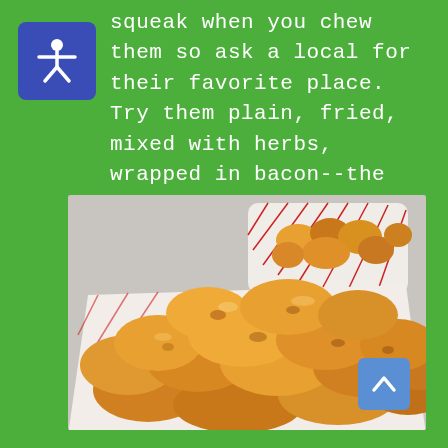squeak when you chew them so ask a local for their favorite place. Try them plain, fried, mixed with herbs, wrapped in bacon--the possibilities are endless!
[Figure (photo): Photo of golden fried cheese curds piled in a white paper tray, with another basket of cheese curds visible in the background on a light gray surface.]